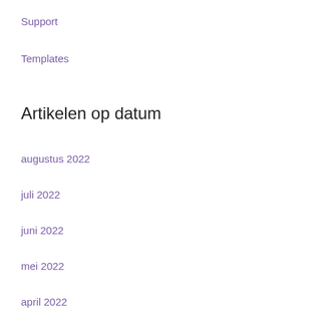Support
Templates
Artikelen op datum
augustus 2022
juli 2022
juni 2022
mei 2022
april 2022
maart 2022
februari 2022
januari 2022
december 2021
november 2021